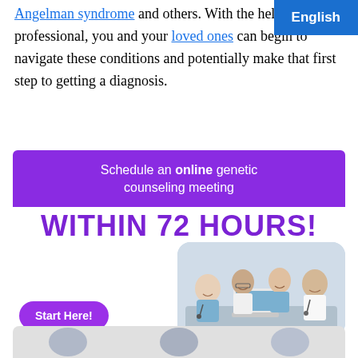Angelman syndrome and others. With the help of a professional, you and your loved ones can begin to navigate these conditions and potentially make that first step to getting a diagnosis.
[Figure (infographic): Purple banner advertisement: 'Schedule an online genetic counseling meeting WITHIN 72 HOURS!' with a 'Start Here!' button and a photo of medical professionals at a laptop.]
[Figure (photo): Bottom strip showing partial view of speaker avatars/portraits.]